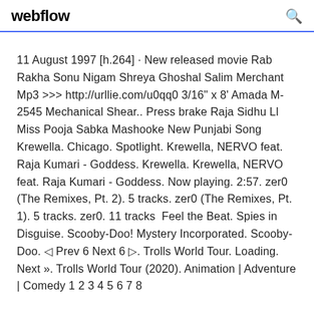webflow
11 August 1997 [h.264] · New released movie Rab Rakha Sonu Nigam Shreya Ghoshal Salim Merchant Mp3 >>> http://urllie.com/u0qq0 3/16" x 8' Amada M-2545 Mechanical Shear.. Press brake Raja Sidhu Ll Miss Pooja Sabka Mashooke New Punjabi Song Krewella. Chicago. Spotlight. Krewella, NERVO feat. Raja Kumari - Goddess. Krewella. Krewella, NERVO feat. Raja Kumari - Goddess. Now playing. 2:57. zer0 (The Remixes, Pt. 2). 5 tracks. zer0 (The Remixes, Pt. 1). 5 tracks. zer0. 11 tracks Feel the Beat. Spies in Disguise. Scooby-Doo! Mystery Incorporated. Scooby-Doo. ◁ Prev 6 Next 6 ▷. Trolls World Tour. Loading. Next ». Trolls World Tour (2020). Animation | Adventure | Comedy 1 2 3 4 5 6 7 8